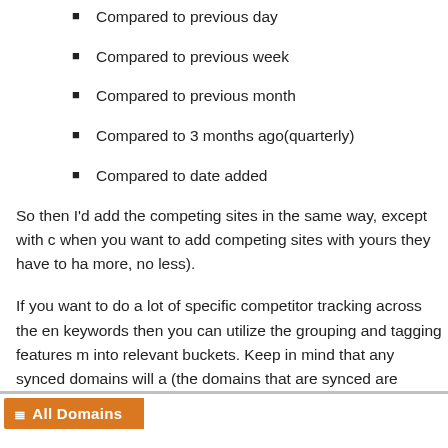Compared to previous day
Compared to previous week
Compared to previous month
Compared to 3 months ago(quarterly)
Compared to date added
So then I'd add the competing sites in the same way, except with c when you want to add competing sites with yours they have to ha more, no less).
If you want to do a lot of specific competitor tracking across the en keywords then you can utilize the grouping and tagging features m into relevant buckets. Keep in mind that any synced domains will a (the domains that are synced are grouped together)
When you are in the domain interface you can see average rank b (same as time periods above) and filter by domain name and tag:
[Figure (screenshot): Orange header bar labeled 'All Domains' with an icon]